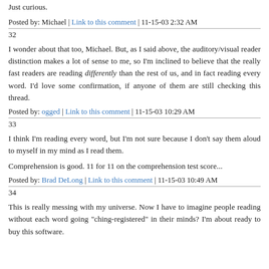Just curious.
Posted by: Michael | Link to this comment | 11-15-03 2:32 AM
32
I wonder about that too, Michael. But, as I said above, the auditory/visual reader distinction makes a lot of sense to me, so I'm inclined to believe that the really fast readers are reading differently than the rest of us, and in fact reading every word. I'd love some confirmation, if anyone of them are still checking this thread.
Posted by: ogged | Link to this comment | 11-15-03 10:29 AM
33
I think I'm reading every word, but I'm not sure because I don't say them aloud to myself in my mind as I read them.
Comprehension is good. 11 for 11 on the comprehension test score...
Posted by: Brad DeLong | Link to this comment | 11-15-03 10:49 AM
34
This is really messing with my universe. Now I have to imagine people reading without each word going "ching-registered" in their minds? I'm about ready to buy this software.